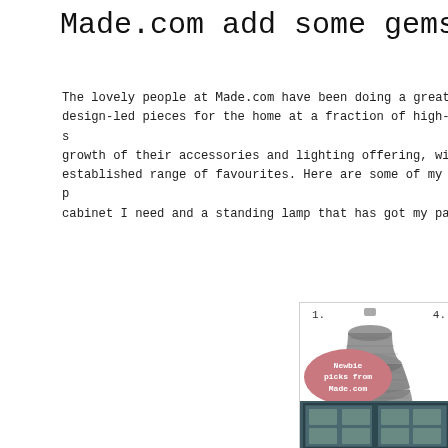Made.com add some gems to t
The lovely people at Made.com have been doing a great job of bringing design-led pieces for the home at a fraction of high-street prices. I love the growth of their accessories and lighting offering, which now rivals their established range of favourites. Here are some of my picks, including a cabinet I need and a standing lamp that has got my pal...
[Figure (photo): Collage panel showing: 1. A tiered grey mesh/wire pendant lamp. 4. Partially visible item. A pink oval badge reads 'Newbie picks from Made.com'. Below: a dark teal/green glass-panel cabinet door.]